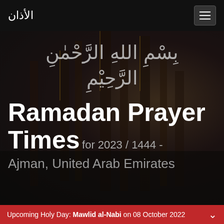الأذان
[Figure (photo): Dark background image showing the Kaaba (Masjid al-Haram) with Arabic text 'Bismillah ir-Rahman ir-Raheem' overlaid in large white letters]
Ramadan Prayer Times for 2023 / 1444 - Ajman, United Arab Emirates
Upcoming Holy Day: Mawlid al-Nabi on 08 October 2022